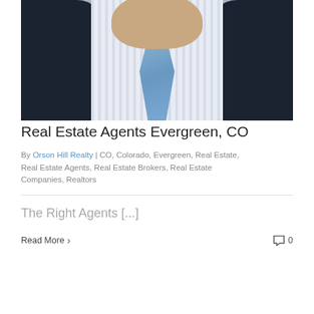[Figure (photo): Professional headshot of a man in a dark suit, white striped dress shirt, and light blue tie — cropped from chest up, no face fully visible.]
Real Estate Agents Evergreen, CO
By Orson Hill Realty | CO, Colorado, Evergreen, Real Estate, Real Estate Agents, Real Estate Brokers, Real Estate Companies, Realtors
The Right Agents [...]
Read More > 0